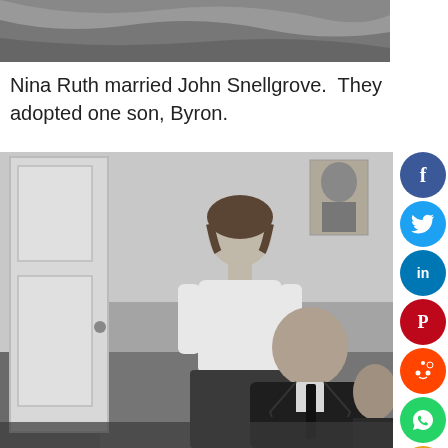[Figure (photo): Partial top of a black and white photograph, showing abstract dark patterns]
Nina Ruth married John Snellgrove.  They adopted one son, Byron.
[Figure (photo): Black and white photograph of a woman in a white top and dark skirt standing behind a man in a dark suit with a tie, inside a room with a white door. A small portrait photograph hangs on the wall in the upper right.]